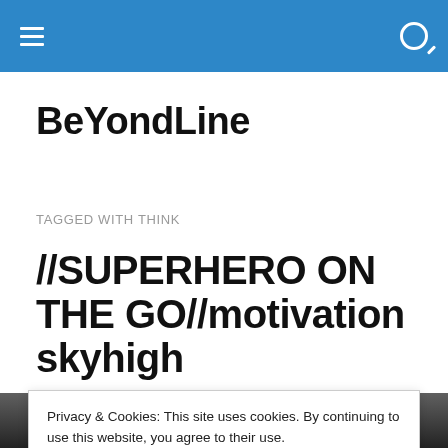BeYondLine — navigation bar with hamburger menu and search icon
BeYondLine
TAGGED WITH THINK
//SUPERHERO ON THE GO//motivation skyhigh
[Figure (photo): Partial photo of a person visible at the bottom of the page behind a cookie consent banner]
Privacy & Cookies: This site uses cookies. By continuing to use this website, you agree to their use.
To find out more, including how to control cookies, see here: Cookie Policy
Close and accept